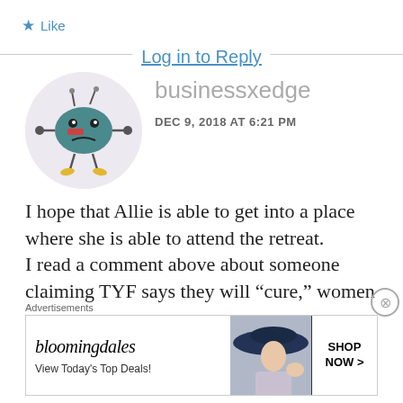★ Like
Log in to Reply
[Figure (illustration): Robot/alien cartoon avatar: a round teal blob body with small antennae, eyes, a red rectangular mark on front, arms with round ends, and small yellow feet, on a light lavender circular background.]
businessxedge
DEC 9, 2018 AT 6:21 PM
I hope that Allie is able to get into a place where she is able to attend the retreat.
I read a comment above about someone claiming TYF says they will “cure,” women
Advertisements
[Figure (screenshot): Bloomingdale's advertisement banner: logo text 'bloomingdales', subtext 'View Today’s Top Deals!', image of woman in large hat, and 'SHOP NOW >' button.]